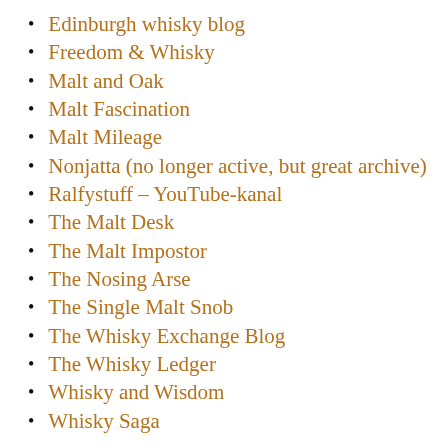Edinburgh whisky blog
Freedom & Whisky
Malt and Oak
Malt Fascination
Malt Mileage
Nonjatta (no longer active, but great archive)
Ralfystuff – YouTube-kanal
The Malt Desk
The Malt Impostor
The Nosing Arse
The Single Malt Snob
The Whisky Exchange Blog
The Whisky Ledger
Whisky and Wisdom
Whisky Saga